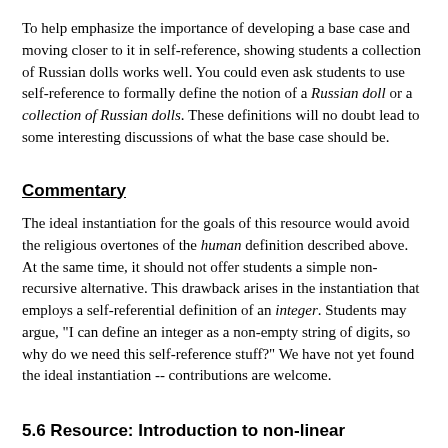To help emphasize the importance of developing a base case and moving closer to it in self-reference, showing students a collection of Russian dolls works well. You could even ask students to use self-reference to formally define the notion of a Russian doll or a collection of Russian dolls. These definitions will no doubt lead to some interesting discussions of what the base case should be.
Commentary
The ideal instantiation for the goals of this resource would avoid the religious overtones of the human definition described above. At the same time, it should not offer students a simple non-recursive alternative. This drawback arises in the instantiation that employs a self-referential definition of an integer. Students may argue, "I can define an integer as a non-empty string of digits, so why do we need this self-reference stuff?" We have not yet found the ideal instantiation -- contributions are welcome.
5.6 Resource: Introduction to non-linear recursion